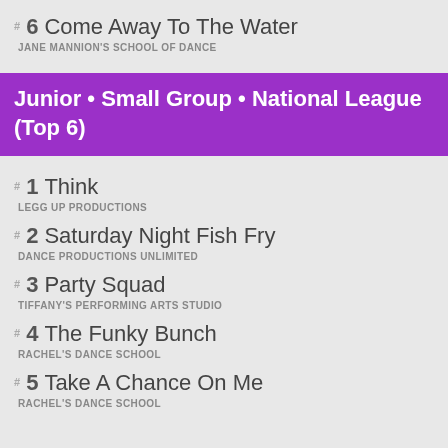#6 Come Away To The Water — JANE MANNION'S SCHOOL OF DANCE
Junior • Small Group • National League (Top 6)
#1 Think — LEGG UP PRODUCTIONS
#2 Saturday Night Fish Fry — DANCE PRODUCTIONS UNLIMITED
#3 Party Squad — TIFFANY'S PERFORMING ARTS STUDIO
#4 The Funky Bunch — RACHEL'S DANCE SCHOOL
#5 Take A Chance On Me — RACHEL'S DANCE SCHOOL